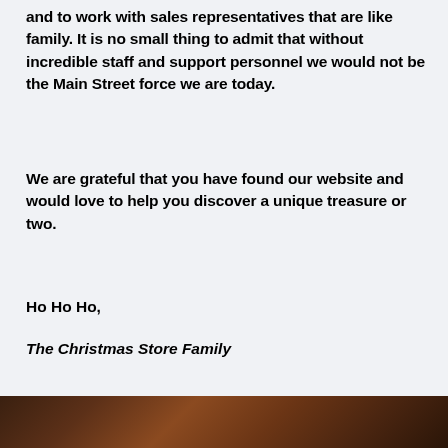and to work with sales representatives that are like family. It is no small thing to admit that without incredible staff and support personnel we would not be the Main Street force we are today.
We are grateful that you have found our website and would love to help you discover a unique treasure or two.
Ho Ho Ho,
The Christmas Store Family
[Figure (photo): Dark photograph of Christmas-themed imagery at the bottom of the page]